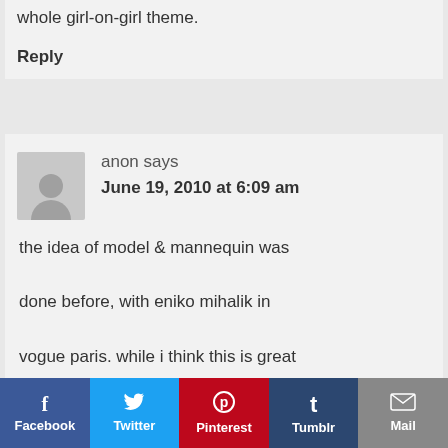whole girl-on-girl theme.
Reply
anon says
June 19, 2010 at 6:09 am
the idea of model & mannequin was done before, with eniko mihalik in vogue paris. while i think this is great (the…)
Facebook  Twitter  Pinterest  Tumblr  Mail